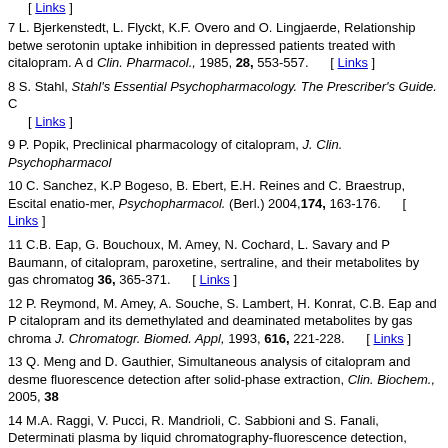[ Links ]
7 L. Bjerkenstedt, L. Flyckt, K.F. Overo and O. Lingjaerde, Relationship between serotonin uptake inhibition in depressed patients treated with citalopram. A d Clin. Pharmacol., 1985, 28, 553-557. [ Links ]
8 S. Stahl, Stahl's Essential Psychopharmacology. The Prescriber's Guide. C [ Links ]
9 P. Popik, Preclinical pharmacology of citalopram, J. Clin. Psychopharmacol
10 C. Sanchez, K.P Bogeso, B. Ebert, E.H. Reines and C. Braestrup, Escital enatio-mer, Psychopharmacol. (Berl.) 2004, 174, 163-176. [ Links ]
11 C.B. Eap, G. Bouchoux, M. Amey, N. Cochard, L. Savary and P Baumann, of citalopram, paroxetine, sertraline, and their metabolites by gas chromatog 36, 365-371. [ Links ]
12 P. Reymond, M. Amey, A. Souche, S. Lambert, H. Konrat, C.B. Eap and P citalopram and its demethylated and deaminated metabolites by gas chroma J. Chromatogr. Biomed. Appl, 1993, 616, 221-228. [ Links ]
13 Q. Meng and D. Gauthier, Simultaneous analysis of citalopram and desme fluorescence detection after solid-phase extraction, Clin. Biochem., 2005, 38
14 M.A. Raggi, V. Pucci, R. Mandrioli, C. Sabbioni and S. Fanali, Determinati plasma by liquid chromatography-fluorescence detection, Chromatographia,
15 E. Matsui, M. Hoshino, A. Matsui and A. Okahira, Simultaneous determina performance liquid chromatography with column switching and fluorescence Biome. Appl., 1995, 668, 299-307. [ Links ]